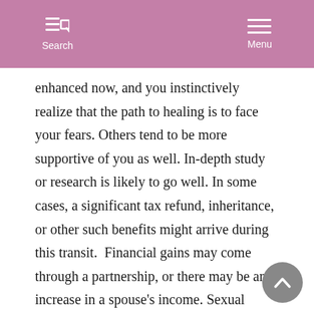Search  Menu
enhanced now, and you instinctively realize that the path to healing is to face your fears. Others tend to be more supportive of you as well. In-depth study or research is likely to go well. In some cases, a significant tax refund, inheritance, or other such benefits might arrive during this transit.  Financial gains may come through a partnership, or there may be an increase in a spouse's income. Sexual opportunities are likely to abound, or your focus on one partner becomes more expansive, warm, and intimate.
This could be a time of purging yourself of literal or psychic “junk”, as there is a sense that de-cluttering your life will be beneficial to your emotional well-being. Benefits can come